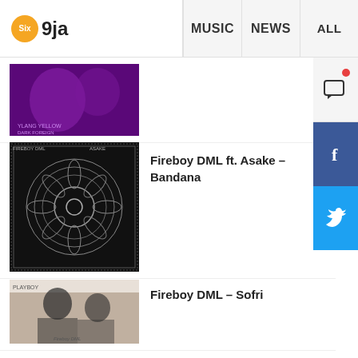Six 9ja | MUSIC | NEWS | ALL
[Figure (photo): Purple-toned album art thumbnail (cropped, top of page)]
[Figure (photo): Fireboy DML ft. Asake – Bandana black album cover with mandala art]
Fireboy DML ft. Asake – Bandana
[Figure (photo): Fireboy DML Sofri – photo of artist with dreadlocks]
Fireboy DML – Sofri
[Figure (photo): Fireboy DML Ashawo – photo of artist with dreadlocks]
Fireboy DML – Ashawo
[Figure (photo): OGB Recent – Choke (30BG Anthem) green cartoon album art]
OGB Recent – Choke (30BG Anthem)